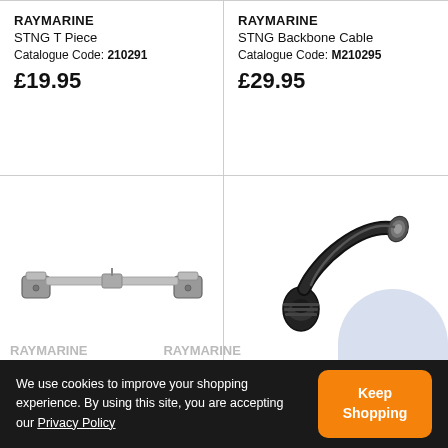RAYMARINE
STNG T Piece
Catalogue Code: 210291
£19.95
RAYMARINE
STNG Backbone Cable
Catalogue Code: M210295
£29.95
[Figure (photo): STNG T Piece connector hardware, grey metal bracket with two legs]
[Figure (photo): STNG Backbone Cable, black cable with round connector plug on one end and smaller plug on the other end]
We use cookies to improve your shopping experience. By using this site, you are accepting our Privacy Policy